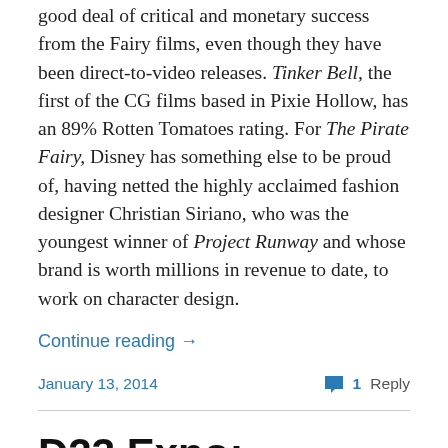good deal of critical and monetary success from the Fairy films, even though they have been direct-to-video releases. Tinker Bell, the first of the CG films based in Pixie Hollow, has an 89% Rotten Tomatoes rating. For The Pirate Fairy, Disney has something else to be proud of, having netted the highly acclaimed fashion designer Christian Siriano, who was the youngest winner of Project Runway and whose brand is worth millions in revenue to date, to work on character design.
Continue reading →
January 13, 2014    1 Reply
D23 Expo: Disneytoon Studios Announces New Films